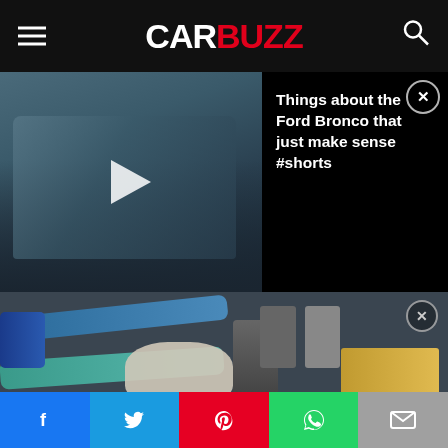CARBUZZ
[Figure (screenshot): Video thumbnail of a Ford Bronco with play button overlay, and text panel: 'Things about the Ford Bronco that just make sense #shorts']
Things about the Ford Bronco that just make sense #shorts
[Figure (photo): Flat lay of emergency/survival kit items including water filter tubes, face mask, red radio, flashlight, batteries, air filter, fork, bowl, blue bag, keys, and other tools on dark background]
[Figure (infographic): Toyota 4RUNNER advertisement banner with Toyota logo, vehicle photo, and text 'Prototype shown with options using visual effects...']
Social share buttons: Facebook, Twitter, Pinterest, WhatsApp, Email